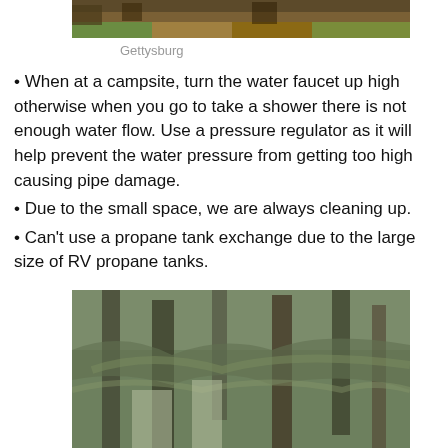[Figure (photo): Outdoor nature/park scene at Gettysburg, showing trees and foliage in autumn colors]
Gettysburg
When at a campsite, turn the water faucet up high otherwise when you go to take a shower there is not enough water flow. Use a pressure regulator as it will help prevent the water pressure from getting too high causing pipe damage.
Due to the small space, we are always cleaning up.
Can't use a propane tank exchange due to the large size of RV propane tanks.
[Figure (photo): Large oak trees covered with Spanish moss, green/grey tones, nature scene]